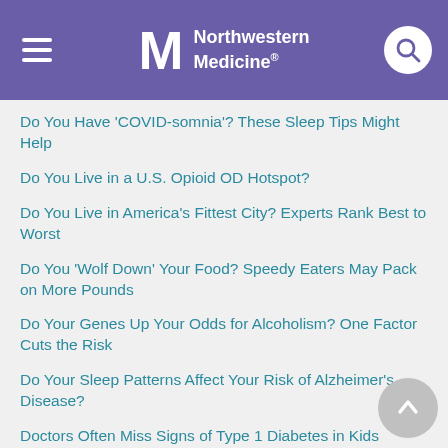Northwestern Medicine
Do You Have 'COVID-somnia'? These Sleep Tips Might Help
Do You Live in a U.S. Opioid OD Hotspot?
Do You Live in America's Fittest City? Experts Rank Best to Worst
Do You 'Wolf Down' Your Food? Speedy Eaters May Pack on More Pounds
Do Your Genes Up Your Odds for Alcoholism? One Factor Cuts the Risk
Do Your Sleep Patterns Affect Your Risk of Alzheimer's Disease?
Doctors Often Miss Signs of Type 1 Diabetes in Kids